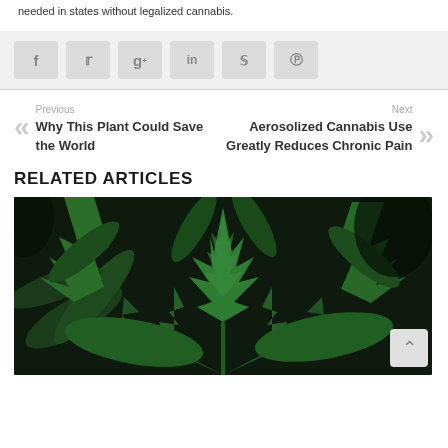needed in states without legalized cannabis.
[Figure (other): Social share buttons: Facebook, Twitter, Google+, LinkedIn, StumbleUpon, Pinterest]
Previous
Why This Plant Could Save the World
Next
Aerosolized Cannabis Use Greatly Reduces Chronic Pain
RELATED ARTICLES
[Figure (photo): Close-up photograph of green cannabis leaves with dark background]